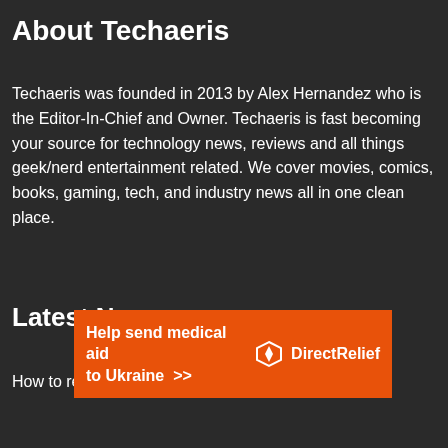About Techaeris
Techaeris was founded in 2013 by Alex Hernandez who is the Editor-In-Chief and Owner. Techaeris is fast becoming your source for technology news, reviews and all things geek/nerd entertainment related. We cover movies, comics, books, gaming, tech, and industry news all in one clean place.
Latest News
How to review and look at features in the BLUETTI...
[Figure (infographic): Orange advertisement banner: 'Help send medical aid to Ukraine >>' with Direct Relief logo on the right]